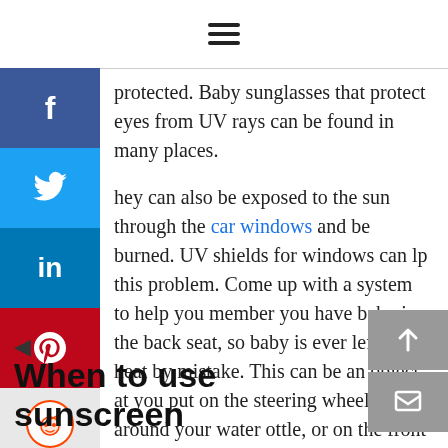☰ (hamburger menu icon)
protected. Baby sunglasses that protect eyes from UV rays can be found in many places.
hey can also be exposed to the sun through the car windows and be burned. UV shields for windows can lp this problem. Come up with a system to help you member you have baby in the back seat, so baby is ever left in the heat by mistake. This can be an object at you put on the steering wheel, around your water ottle, or on the front seat that gives you a visual cue help you remember.
When to use sunscreen